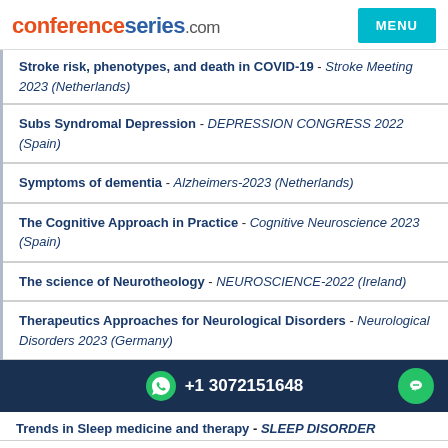conferenceseries.com
Stroke risk, phenotypes, and death in COVID-19 - Stroke Meeting 2023 (Netherlands)
Subs Syndromal Depression - DEPRESSION CONGRESS 2022 (Spain)
Symptoms of dementia - Alzheimers-2023 (Netherlands)
The Cognitive Approach in Practice - Cognitive Neuroscience 2023 (Spain)
The science of Neurotheology - NEUROSCIENCE-2022 (Ireland)
Therapeutics Approaches for Neurological Disorders - Neurological Disorders 2023 (Germany)
+1 3072151648
Trends in Sleep medicine and therapy - SLEEP DISORDER